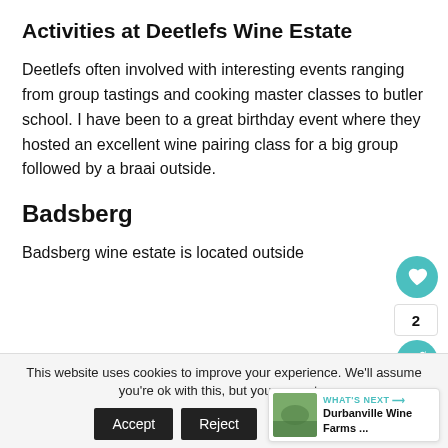Activities at Deetlefs Wine Estate
Deetlefs often involved with interesting events ranging from group tastings and cooking master classes to butler school. I have been to a great birthday event where they hosted an excellent wine pairing class for a big group followed by a braai outside.
Badsberg
Badsberg wine estate is located outside
This website uses cookies to improve your experience. We'll assume you're ok with this, but you can opt-o
Accept   Reject   Read More